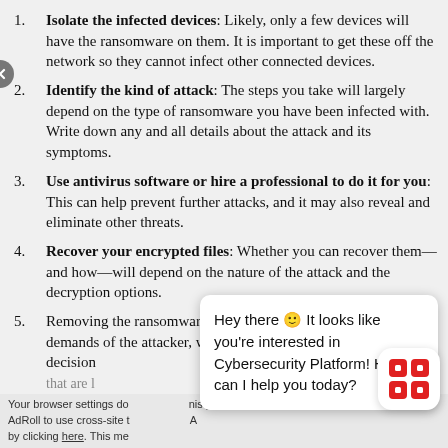Isolate the infected devices: Likely, only a few devices will have the ransomware on them. It is important to get these off the network so they cannot infect other connected devices.
Identify the kind of attack: The steps you take will largely depend on the type of ransomware you have been infected with. Write down any and all details about the attack and its symptoms.
Use antivirus software or hire a professional to do it for you: This can help prevent further attacks, and it may also reveal and eliminate other threats.
Recover your encrypted files: Whether you can recover them—and how—will depend on the nature of the attack and the decryption options.
Removing the ransomware makes it impossible to respond to the demands of the attacker, which can prevent any additional personal decision  files that are  pt a
Hey there 🙂 It looks like you're interested in Cybersecurity Platform! How can I help you today?
Your browser settings do not allow cross-site tracking. AdRoll to use cross-site tracking by clicking here. This me